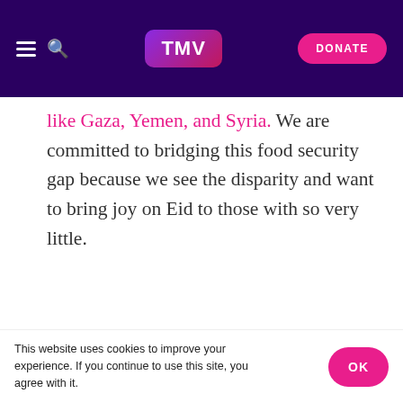TMV — DONATE
like Gaza, Yemen, and Syria. We are committed to bridging this food security gap because we see the disparity and want to bring joy on Eid to those with so very little.
[Figure (photo): A smartphone screen showing the Yatim Orphan Foundation app with 'Sponsor an Orphan' text visible on the screen.]
This website uses cookies to improve your experience. If you continue to use this site, you agree with it.